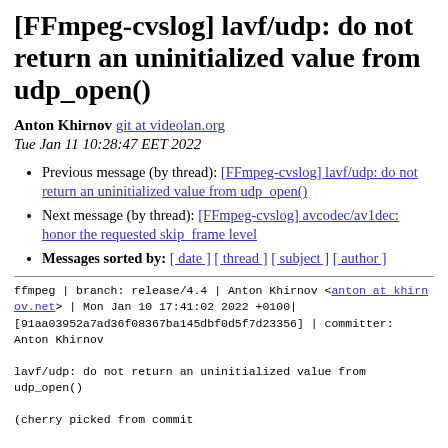[FFmpeg-cvslog] lavf/udp: do not return an uninitialized value from udp_open()
Anton Khirnov git at videolan.org
Tue Jan 11 10:28:47 EET 2022
Previous message (by thread): [FFmpeg-cvslog] lavf/udp: do not return an uninitialized value from udp_open()
Next message (by thread): [FFmpeg-cvslog] avcodec/av1dec: honor the requested skip_frame level
Messages sorted by: [ date ] [ thread ] [ subject ] [ author ]
ffmpeg | branch: release/4.4 | Anton Khirnov <anton at khirnov.net> | Mon Jan 10 17:41:02 2022 +0100| [91aa03952a7ad36f08367ba145dbf0d5f7d23356] | committer: Anton Khirnov

lavf/udp: do not return an uninitialized value from udp_open()

(cherry picked from commit